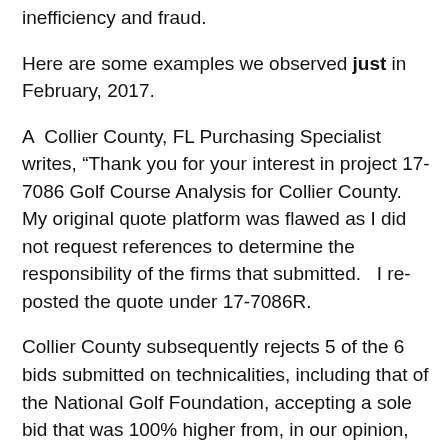inefficiency and fraud.
Here are some examples we observed just in February, 2017.
A  Collier County, FL Purchasing Specialist writes, “Thank you for your interest in project 17-7086 Golf Course Analysis for Collier County.  My original quote platform was flawed as I did not request references to determine the responsibility of the firms that submitted.   I re-posted the quote under 17-7086R.
Collier County subsequently rejects 5 of the 6 bids submitted on technicalities, including that of the National Golf Foundation, accepting a sole bid that was 100% higher from, in our opinion, the least